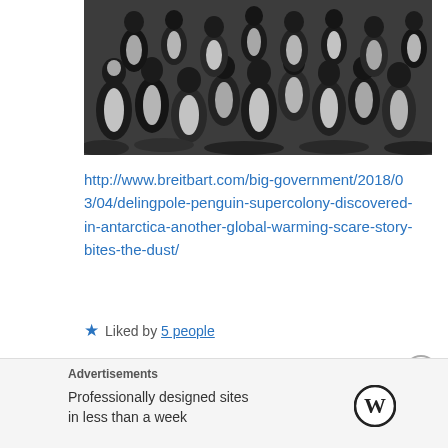[Figure (photo): Black and white photograph of a large crowd of penguins packed closely together]
http://www.breitbart.com/big-government/2018/03/04/delingpole-penguin-supercolony-discovered-in-antarctica-another-global-warming-scare-story-bites-the-dust/
★ Liked by 5 people
Advertisements
Professionally designed sites in less than a week